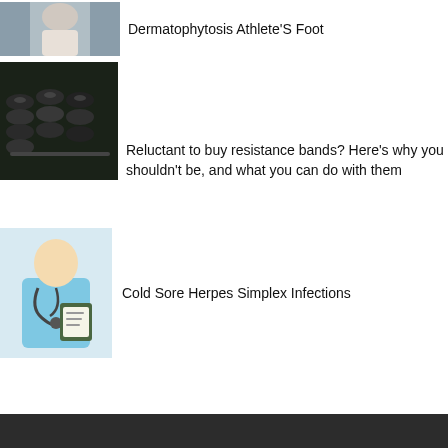[Figure (photo): Person in white coat or robe, partial view, grey background - thumbnail for Dermatophytosis article]
Dermatophytosis Athlete'S Foot
[Figure (photo): Dumbbells/weights on a rack in a gym setting]
Reluctant to buy resistance bands? Here's why you shouldn't be, and what you can do with them
[Figure (photo): Medical professional in blue scrubs with stethoscope holding a clipboard]
Cold Sore Herpes Simplex Infections